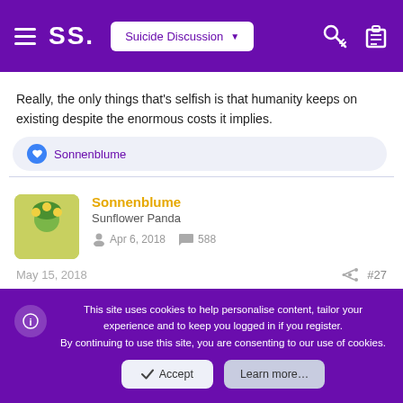SS. | Suicide Discussion
Really, the only things that's selfish is that humanity keeps on existing despite the enormous costs it implies.
Sonnenblume (liked)
Sonnenblume
Sunflower Panda
Apr 6, 2018   588
May 15, 2018   #27
This site uses cookies to help personalise content, tailor your experience and to keep you logged in if you register.
By continuing to use this site, you are consenting to our use of cookies.
Accept   Learn more…